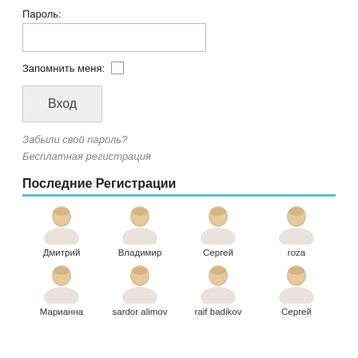Пароль:
[Figure (other): Password input field (empty text box)]
Запомнить меня: □
Вход
Забыли свой пароль?
Бесплатная регистрация
Последние Регистрации
[Figure (other): Grid of 8 user avatar icons with names: Дмитрий, Владимир, Сергей, roza, Марианна, sardor alimov, raif badikov, Сергей]